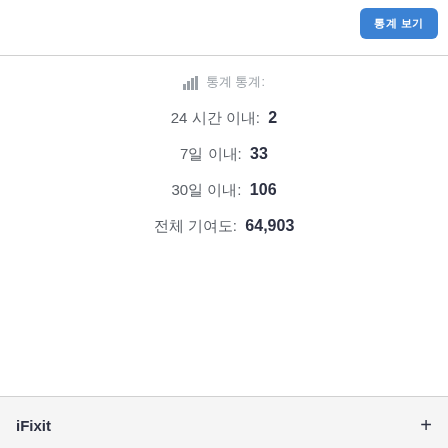통계 통계:
24 시간 이내: 2
7일 이내: 33
30일 이내: 106
전체 기여도: 64,903
iFixit
도구
기타 사이트들